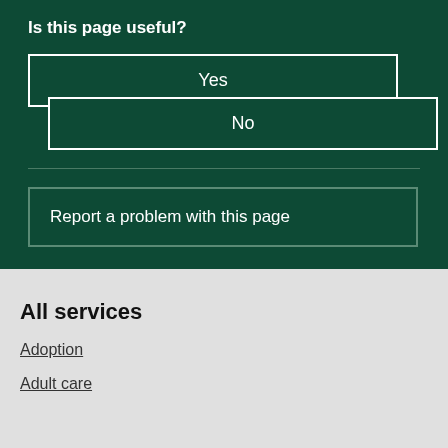Is this page useful?
Yes
No
Report a problem with this page
All services
Adoption
Adult care